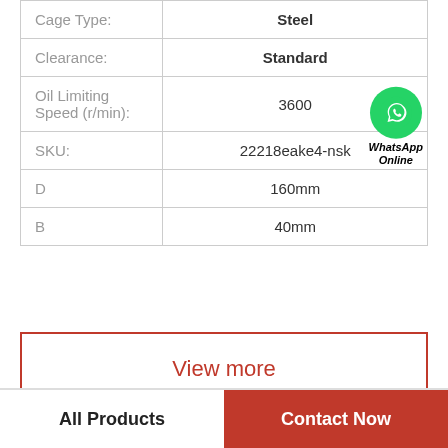| Property | Value |
| --- | --- |
| Cage Type: | Steel |
| Clearance: | Standard |
| Oil Limiting Speed (r/min): | 3600 |
| SKU: | 22218eake4-nsk |
| D | 160mm |
| B | 40mm |
View more
All Products | Contact Now